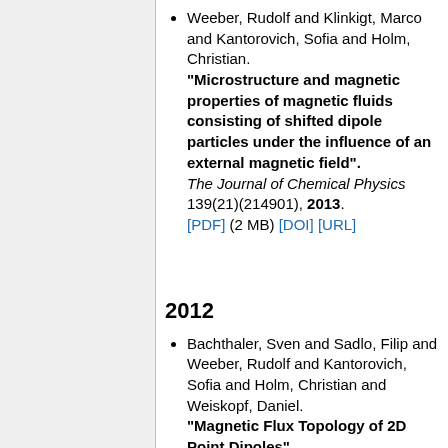Weeber, Rudolf and Klinkigt, Marco and Kantorovich, Sofia and Holm, Christian. "Microstructure and magnetic properties of magnetic fluids consisting of shifted dipole particles under the influence of an external magnetic field". The Journal of Chemical Physics 139(21)(214901), 2013. [PDF] (2 MB) [DOI] [URL]
2012
Bachthaler, Sven and Sadlo, Filip and Weeber, Rudolf and Kantorovich, Sofia and Holm, Christian and Weiskopf, Daniel. "Magnetic Flux Topology of 2D Point Dipoles".